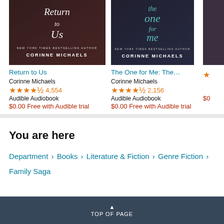[Figure (photo): Book cover for 'Return to Us' by Corinne Michaels - romantic cover with couple]
Return to Us
Corinne Michaels
4,554 stars rating, Audible Audiobook, $0.00 Free with Audible trial
[Figure (photo): Book cover for 'The One for Me' by Corinne Michaels - romantic cover with couple]
The One for Me: The...
Corinne Michaels
2,156 stars rating, Audible Audiobook, $0.00 Free with Audible trial
[Figure (photo): Partial book cover (cropped), author Corinne Michaels]
You are here
Department › Books › Literature & Fiction › Genre Fiction › Family Saga
TOP OF PAGE